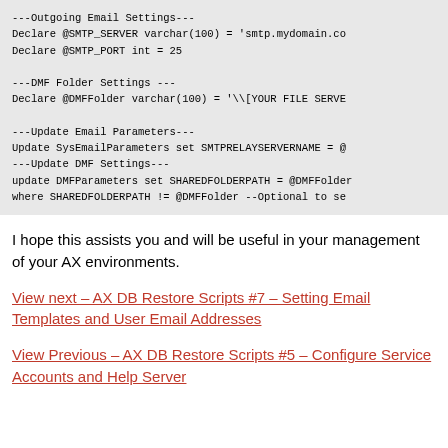[Figure (screenshot): Code block showing SQL/T-SQL script with outgoing email settings, DMF folder settings, update email parameters, and update DMF settings sections.]
I hope this assists you and will be useful in your management of your AX environments.
View next – AX DB Restore Scripts #7 – Setting Email Templates and User Email Addresses
View Previous – AX DB Restore Scripts #5 – Configure Service Accounts and Help Server